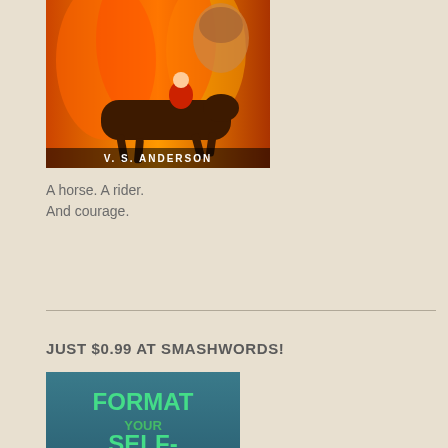[Figure (illustration): Book cover for a horse racing novel by V. S. Anderson, showing a jockey on a galloping horse with a fiery background and a woman's face]
A horse. A rider.
And courage.
JUST $0.99 AT SMASHWORDS!
[Figure (illustration): Book cover for 'Format Your Self-Published Paperback: Step-by-Step Guide to Using Adobe InDesign' with teal background and green/yellow text]